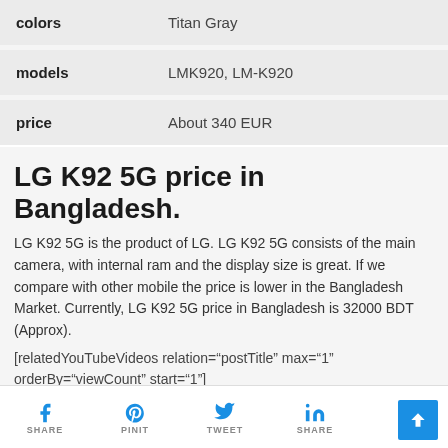|  |  |
| --- | --- |
| colors | Titan Gray |
| models | LMK920, LM-K920 |
| price | About 340 EUR |
LG K92 5G price in Bangladesh.
LG K92 5G is the product of LG. LG K92 5G consists of the main camera, with internal ram and the display size is great. If we compare with other mobile the price is lower in the Bangladesh Market. Currently, LG K92 5G price in Bangladesh is 32000 BDT (Approx).
[relatedYouTubeVideos relation="postTitle" max="1" orderBy="viewCount" start="1"]
SHARE  PINIT  TWEET  SHARE